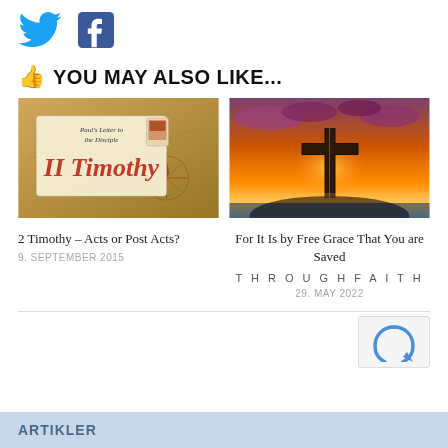[Figure (logo): Twitter bird icon (blue) and Facebook 'f' icon (blue), social media share buttons]
YOU MAY ALSO LIKE...
[Figure (photo): Book cover image reading 'Paul's Letter to the Disciple, II Timothy' on an aged map background with a compass rose]
[Figure (photo): Cross silhouette against a dramatic sunset sky with orange and purple clouds]
2 Timothy – Acts or Post Acts?
9. SEPTEMBER 2015
For It Is by Free Grace That You are Saved
THROUGHFAITH
29. MAY 2022
ARTIKLER